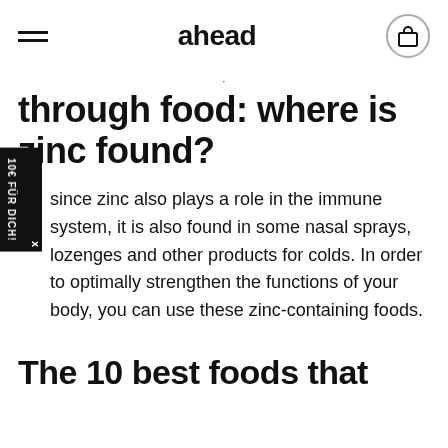ahead
through food: where is zinc found?
since zinc also plays a role in the immune system, it is also found in some nasal sprays, lozenges and other products for colds. In order to optimally strengthen the functions of your body, you can use these zinc-containing foods.
The 10 best foods that